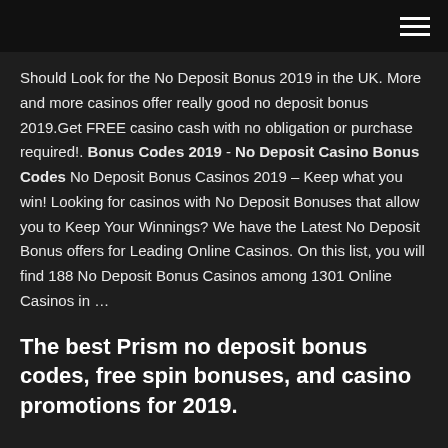Should Look for the No Deposit Bonus 2019 in the UK. More and more casinos offer really good no deposit bonus 2019.Get FREE casino cash with no obligation or purchase required!. Bonus Codes 2019 - No Deposit Casino Bonus Codes No Deposit Bonus Casinos 2019 – Keep what you win! Looking for casinos with No Deposit Bonuses that allow you to Keep Your Winnings? We have the Latest No Deposit Bonus offers for Leading Online Casinos. On this list, you will find 188 No Deposit Bonus Casinos among 1301 Online Casinos in …
The best Prism no deposit bonus codes, free spin bonuses, and casino promotions for 2019.